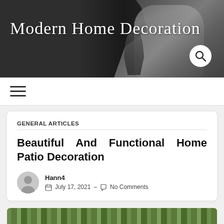[Figure (screenshot): Website header banner with dark background showing Modern Home Decoration blog logo in cursive white script, with a modern chair and decorative vase silhouette on the right, and a circular search icon button]
Modern Home Decoration
GENERAL ARTICLES
Beautiful And Functional Home Patio Decoration
Hann4
July 17, 2021 – No Comments